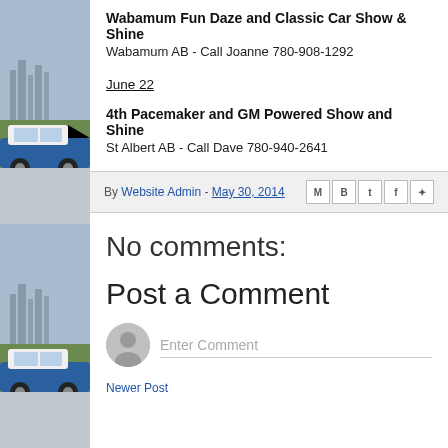[Figure (photo): Blue and white classic car parked on grass with city skyline in background, shown twice as repeating sidebar images]
Wabamum Fun Daze and Classic Car Show & Shine
Wabamum AB - Call Joanne 780-908-1292
June 22
4th Pacemaker and GM Powered Show and Shine
St Albert AB - Call Dave 780-940-2641
By Website Admin - May 30, 2014
No comments:
Post a Comment
Enter Comment
Newer Post